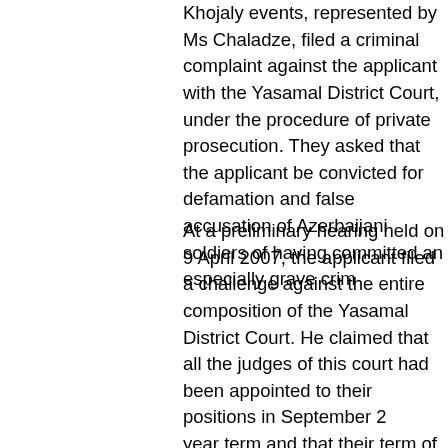Khojaly events, represented by Ms Challadze, filed a criminal complaint against the applicant with the Yasamal District Court, under the procedure of private prosecution. They asked that the applicant be convicted for defamation and false accusation of Azerbaijani soldiers of having committed an especially grave crime.
At a preliminary hearing held on 9 April 2007, the applicant filed a challenge against the entire composition of the Yasamal District Court. He claimed that all the judges of this court had been appointed to their positions in September 2000 for a five-year term and that their term of office had expired in 2005. He therefore argued that such a composition of the court could not be considered as a "tribunal established by law". This objection was dismissed.
The hearing of the criminal case took place on 20 April 2007 and was presided over by Judge I. Ismayilov.
In his oral submissions to the court, the applicant pleaded his innocence. In particular, he denied making the statements on the forum of the AzeriTriColor website and maintained that those statements had been made by someone else who had used his name for this purpose.
The court heard a linguistic expert, who gave an opinion on the alleged statements, and a number of witnesses, who testified about the Khojaly events. The court also found that the internet forum of the AzeriTriColor website, in essence, replicated the internet forum of the Realny Azerbaijan website, which had beco